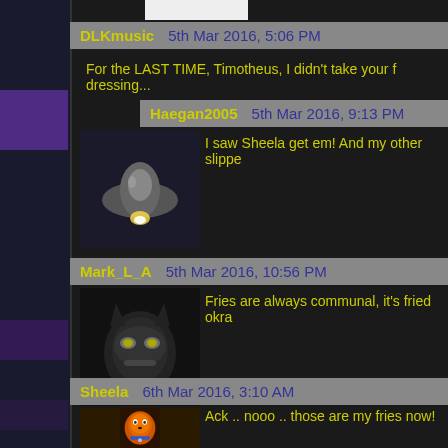DLKmusic   5th Mar 2016, 5:06 PM
For the LAST TIME, Timotheus, I didn't take your f... dressing...
Haegan2005   5th Mar 2016, 9:13 PM
[Figure (illustration): Spaceship/rocket avatar image]
I saw Sheela get em! And my other slippe...
Mark_L_A   5th Mar 2016, 10:56 PM
[Figure (illustration): Dark masked character avatar (Batman-like)]
Fries are always communal, it's fried okra...
Sheela   6th Mar 2016, 3:10 AM
[Figure (illustration): Orange cartoon dog avatar]
Ack .. nooo .. those are my fries now!

Minion, delay them while I get away!
Tokyo Rose   6th Mar 2016, 3:12 PM
[Figure (illustration): Avatar partially visible at bottom]
It's slightly weird, given what a consistent...